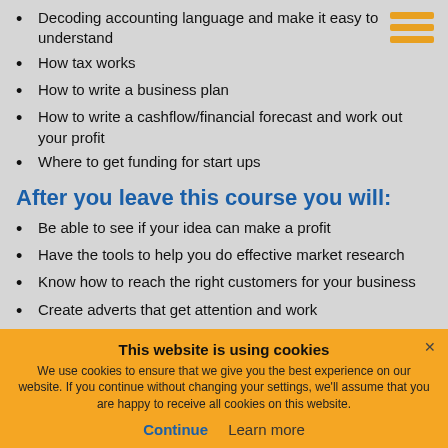Decoding accounting language and make it easy to understand
How tax works
How to write a business plan
How to write a cashflow/financial forecast and work out your profit
Where to get funding for start ups
After you leave this course you will:
Be able to see if your idea can make a profit
Have the tools to help you do effective market research
Know how to reach the right customers for your business
Create adverts that get attention and work
Know which business structure will work best for you
This website is using cookies
We use cookies to ensure that we give you the best experience on our website. If you continue without changing your settings, we'll assume that you are happy to receive all cookies on this website.
Continue  Learn more